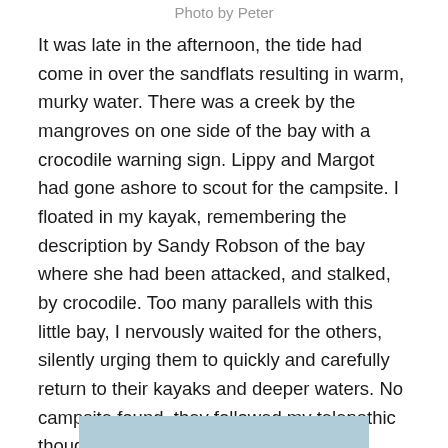Photo by Peter
It was late in the afternoon, the tide had come in over the sandflats resulting in warm, murky water. There was a creek by the mangroves on one side of the bay with a crocodile warning sign. Lippy and Margot had gone ashore to scout for the campsite. I floated in my kayak, remembering the description by Sandy Robson of the bay where she had been attacked, and stalked, by crocodile. Too many parallels with this little bay, I nervously waited for the others, silently urging them to quickly and carefully return to their kayaks and deeper waters. No campsite found, they followed my telepathic thoughts and we moved, to another bay, another beach, a proper campsite found by Peter and Shaan.
[Figure (photo): Partial view of a coastal/water scene at the bottom of the page]